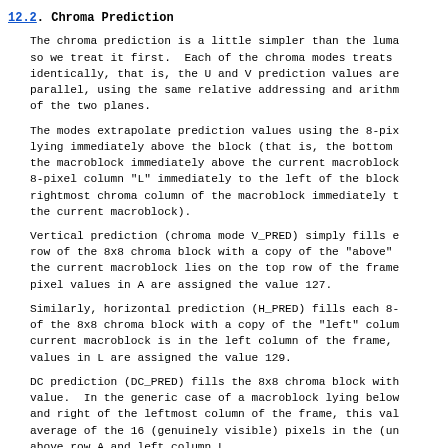12.2.  Chroma Prediction
The chroma prediction is a little simpler than the luma so we treat it first.  Each of the chroma modes treats identically, that is, the U and V prediction values are parallel, using the same relative addressing and arithm of the two planes.
The modes extrapolate prediction values using the 8-pix lying immediately above the block (that is, the bottom the macroblock immediately above the current macroblock 8-pixel column "L" immediately to the left of the block rightmost chroma column of the macroblock immediately t the current macroblock).
Vertical prediction (chroma mode V_PRED) simply fills e row of the 8x8 chroma block with a copy of the "above" the current macroblock lies on the top row of the frame pixel values in A are assigned the value 127.
Similarly, horizontal prediction (H_PRED) fills each 8- of the 8x8 chroma block with a copy of the "left" colum current macroblock is in the left column of the frame, values in L are assigned the value 129.
DC prediction (DC_PRED) fills the 8x8 chroma block with value.  In the generic case of a macroblock lying below and right of the leftmost column of the frame, this val average of the 16 (genuinely visible) pixels in the (un above row A and left column L.